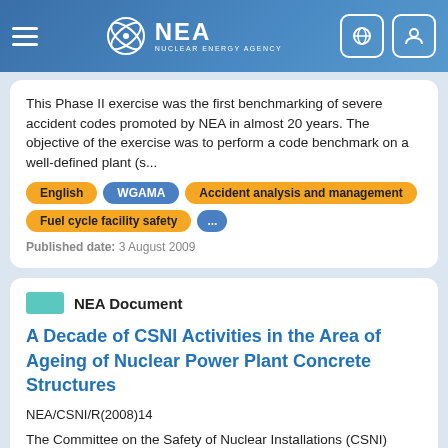NEA Nuclear Energy Agency
This Phase II exercise was the first benchmarking of severe accident codes promoted by NEA in almost 20 years. The objective of the exercise was to perform a code benchmark on a well-defined plant (s...
English | WGAMA | Accident analysis and management | Fuel cycle facility safety | ...
Published date: 3 August 2009
NEA Document
A Decade of CSNI Activities in the Area of Ageing of Nuclear Power Plant Concrete Structures
NEA/CSNI/R(2008)14
The Committee on the Safety of Nuclear Installations (CSNI) Working Group on Integrity and Ageing of Components and Structures...